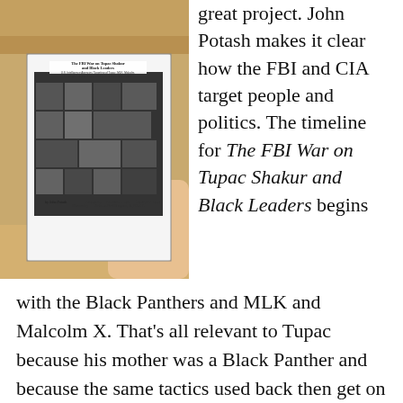[Figure (photo): A person holding a book titled 'The FBI War on Tupac Shakur and Black Leaders' outdoors, with a rocky/sandy background visible. The book cover shows a collage of black and white photos of various people.]
great project. John Potash makes it clear how the FBI and CIA target people and politics. The timeline for The FBI War on Tupac Shakur and Black Leaders begins with the Black Panthers and MLK and Malcolm X. That's all relevant to Tupac because his mother was a Black Panther and because the same tactics used back then get on Tupac down the line. That includes